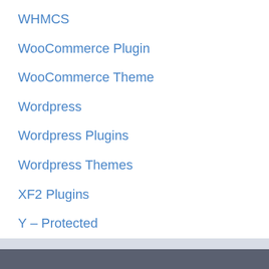WHMCS
WooCommerce Plugin
WooCommerce Theme
Wordpress
Wordpress Plugins
Wordpress Themes
XF2 Plugins
Y – Protected
© 2022 JooStrap Nulled Plugins • Built with GeneratePress